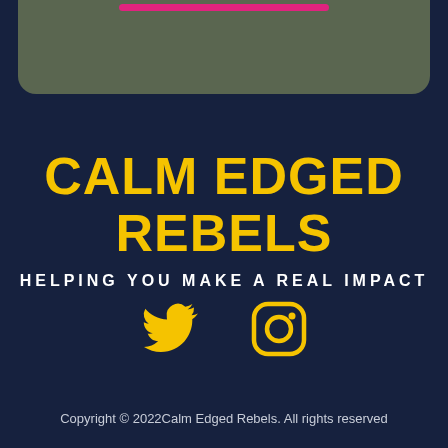[Figure (other): Olive/sage green rounded card at top with a pink horizontal bar near the top edge]
CALM EDGED REBELS
HELPING YOU MAKE A REAL IMPACT
[Figure (other): Twitter bird icon and Instagram camera icon in yellow/gold color]
Copyright © 2022Calm Edged Rebels. All rights reserved